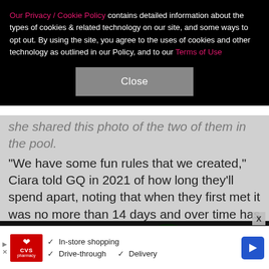Our Privacy / Cookie Policy contains detailed information about the types of cookies & related technology on our site, and some ways to opt out. By using the site, you agree to the uses of cookies and other technology as outlined in our Policy, and to our Terms of Use
Close
she shared this photo of the two of them in the pool. "We have some fun rules that we created," Ciara told GQ in 2021 of how long they'll spend apart, noting that when they first met it was no more than 14 days and over time has whittled down to no more than five.
[Figure (photo): Performers on stage wearing blue cheerleader-style outfits, with a man in the center wearing a backwards cap performing, and a woman in a patterned outfit on the right.]
[Figure (infographic): CVS Pharmacy advertisement banner showing CVS logo and three features: In-store shopping, Drive-through, and Delivery, with a blue navigation arrow icon on the right.]